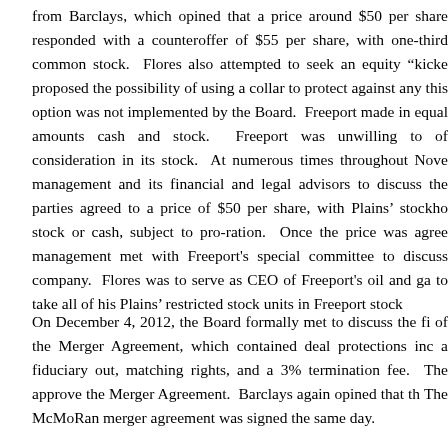from Barclays, which opined that a price around $50 per share responded with a counteroffer of $55 per share, with one-third common stock. Flores also attempted to seek an equity “kicke proposed the possibility of using a collar to protect against any this option was not implemented by the Board. Freeport made in equal amounts cash and stock. Freeport was unwilling to of consideration in its stock. At numerous times throughout Nove management and its financial and legal advisors to discuss the parties agreed to a price of $50 per share, with Plains’ stockho stock or cash, subject to pro-ration. Once the price was agree management met with Freeport's special committee to discuss company. Flores was to serve as CEO of Freeport's oil and ga to take all of his Plains’ restricted stock units in Freeport stock
On December 4, 2012, the Board formally met to discuss the fi of the Merger Agreement, which contained deal protections inc a fiduciary out, matching rights, and a 3% termination fee. The approve the Merger Agreement. Barclays again opined that th The McMoRan merger agreement was signed the same day.